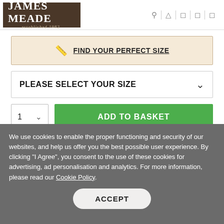JAMES MEADE established 1982
FIND YOUR PERFECT SIZE
PLEASE SELECT YOUR SIZE
1   ADD TO BASKET
We use cookies to enable the proper functioning and security of our websites, and help us offer you the best possible user experience. By clicking "I Agree", you consent to the use of these cookies for advertising, ad personalisation and analytics. For more information, please read our Cookie Policy.
ACCEPT